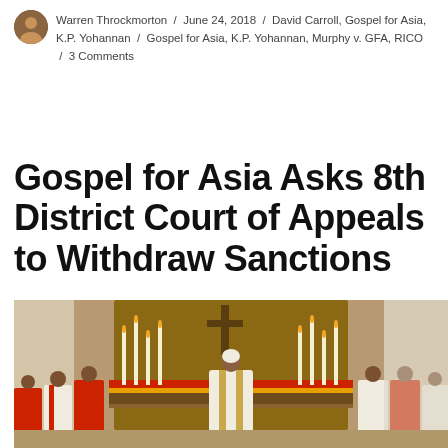Warren Throckmorton / June 24, 2018 / David Carroll, Gospel for Asia, K.P. Yohannan / Gospel for Asia, K.P. Yohannan, Murphy v. GFA, RICO / 3 Comments
Gospel for Asia Asks 8th District Court of Appeals to Withdraw Sanctions
[Figure (photo): A church service or ceremony scene showing clergy in ornate red and white vestments standing at an altar decorated with candles and red/yellow garlands, with a large wooden cross and candelabras in the background.]